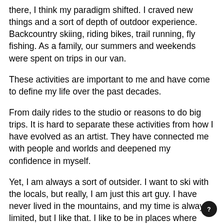there, I think my paradigm shifted. I craved new things and a sort of depth of outdoor experience. Backcountry skiing, riding bikes, trail running, fly fishing. As a family, our summers and weekends were spent on trips in our van.
These activities are important to me and have come to define my life over the past decades.
From daily rides to the studio or reasons to do big trips. It is hard to separate these activities from how I have evolved as an artist. They have connected me with people and worlds and deepened my confidence in myself.
Yet, I am always a sort of outsider. I want to ski with the locals, but really, I am just this art guy. I have never lived in the mountains, and my time is always limited, but I like that. I like to be in places where maybe I am not expected to be, where I never thought I would be. Outside as an outsider.